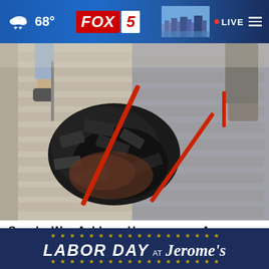68° FOX 5 LIVE
[Figure (photo): Workers replacing a roof — two people using pry bars to remove old damaged shingles, with debris piled on the roof surface]
Sneaky Way Ashburn Homeowners Are Getting Their Old Roof Replaced
Smart Consumer Update
[Figure (infographic): LABOR DAY AT Jerome's advertisement banner with gold stars on dark navy background]